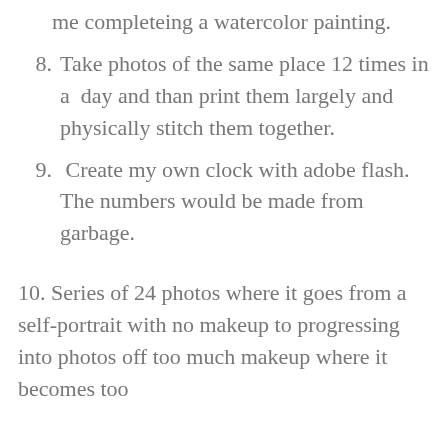me completeing a watercolor painting.
8. Take photos of the same place 12 times in a  day and than print them largely and physically stitch them together.
9.  Create my own clock with adobe flash. The numbers would be made from garbage.
10. Series of 24 photos where it goes from a self-portrait with no makeup to progressing into photos off too much makeup where it becomes too